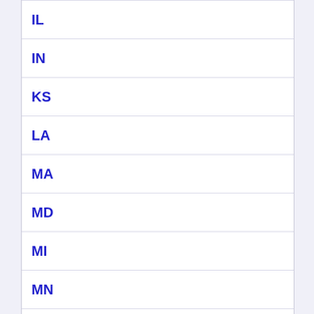| IL |
| IN |
| KS |
| LA |
| MA |
| MD |
| MI |
| MN |
| MO |
| MS |
| MT |
| NE |